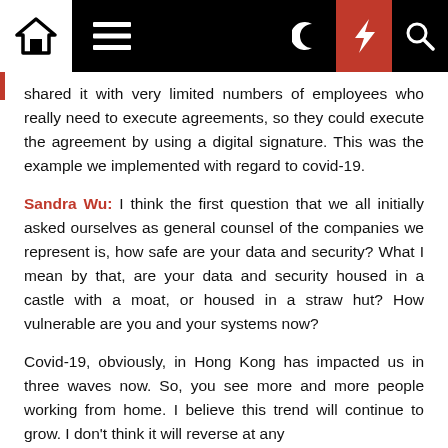Navigation bar with home, menu, moon, flash, and search icons
shared it with very limited numbers of employees who really need to execute agreements, so they could execute the agreement by using a digital signature. This was the example we implemented with regard to covid-19.
Sandra Wu: I think the first question that we all initially asked ourselves as general counsel of the companies we represent is, how safe are your data and security? What I mean by that, are your data and security housed in a castle with a moat, or housed in a straw hut? How vulnerable are you and your systems now?
Covid-19, obviously, in Hong Kong has impacted us in three waves now. So, you see more and more people working from home. I believe this trend will continue to grow. I don't think it will reverse at any